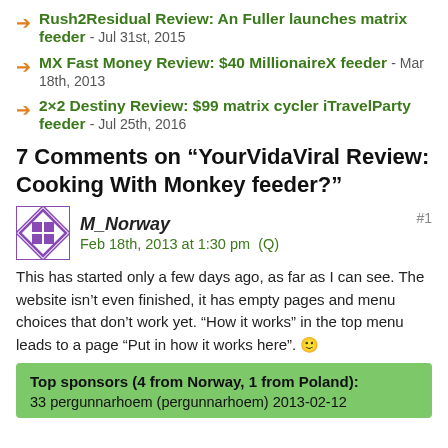Rush2Residual Review: An Fuller launches matrix feeder - Jul 31st, 2015
MX Fast Money Review: $40 MillionaireX feeder - Mar 18th, 2013
2×2 Destiny Review: $99 matrix cycler iTravelParty feeder - Jul 25th, 2016
7 Comments on “YourVidaViral Review: Cooking With Monkey feeder?”
M_Norway
Feb 18th, 2013 at 1:30 pm  (Q)
#1
This has started only a few days ago, as far as I can see. The website isn’t even finished, it has empty pages and menu choices that don’t work yet. “How it works” in the top menu leads to a page “Put in how it works here”. 🙂
Top sponsors (4 from Norway, 1 from Poland):
33 pergunnarhoem (pergunnarhoem) 2013-02-12